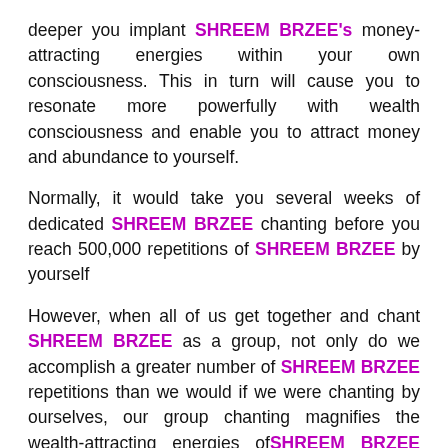deeper you implant SHREEM BRZEE's money-attracting energies within your own consciousness. This in turn will cause you to resonate more powerfully with wealth consciousness and enable you to attract money and abundance to yourself.
Normally, it would take you several weeks of dedicated SHREEM BRZEE chanting before you reach 500,000 repetitions of SHREEM BRZEE by yourself
However, when all of us get together and chant SHREEM BRZEE as a group, not only do we accomplish a greater number of SHREEM BRZEE repetitions than we would if we were chanting by ourselves, our group chanting magnifies the wealth-attracting energies of SHREEM BRZEE within each of us!